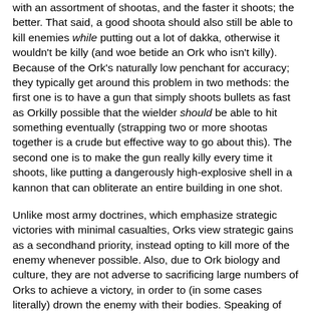with an assortment of shootas, and the faster it shoots; the better. That said, a good shoota should also still be able to kill enemies while putting out a lot of dakka, otherwise it wouldn't be killy (and woe betide an Ork who isn't killy). Because of the Ork's naturally low penchant for accuracy; they typically get around this problem in two methods: the first one is to have a gun that simply shoots bullets as fast as Orkilly possible that the wielder should be able to hit something eventually (strapping two or more shootas together is a crude but effective way to go about this). The second one is to make the gun really killy every time it shoots, like putting a dangerously high-explosive shell in a kannon that can obliterate an entire building in one shot.
Unlike most army doctrines, which emphasize strategic victories with minimal casualties, Orks view strategic gains as a secondhand priority, instead opting to kill more of the enemy whenever possible. Also, due to Ork biology and culture, they are not adverse to sacrificing large numbers of Orks to achieve a victory, in order to (in some cases literally) drown the enemy with their bodies. Speaking of extremely high casualties, Orks also view death as something of a formality, because it...